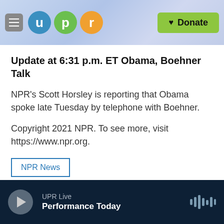[Figure (logo): UPR website header with hamburger menu, UPR logo circles (u, p, r), and green Donate button]
Update at 6:31 p.m. ET Obama, Boehner Talk
NPR's Scott Horsley is reporting that Obama spoke late Tuesday by telephone with Boehner.
Copyright 2021 NPR. To see more, visit https://www.npr.org.
NPR News
[Figure (infographic): Social sharing buttons: Facebook, Twitter, LinkedIn, Email]
UPR Live — Performance Today (audio player bar)